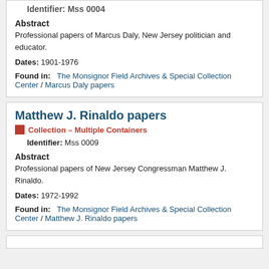Identifier: Mss 0004
Abstract
Professional papers of Marcus Daly, New Jersey politician and educator.
Dates: 1901-1976
Found in: The Monsignor Field Archives & Special Collection Center / Marcus Daly papers
Matthew J. Rinaldo papers
Collection – Multiple Containers
Identifier: Mss 0009
Abstract
Professional papers of New Jersey Congressman Matthew J. Rinaldo.
Dates: 1972-1992
Found in: The Monsignor Field Archives & Special Collection Center / Matthew J. Rinaldo papers